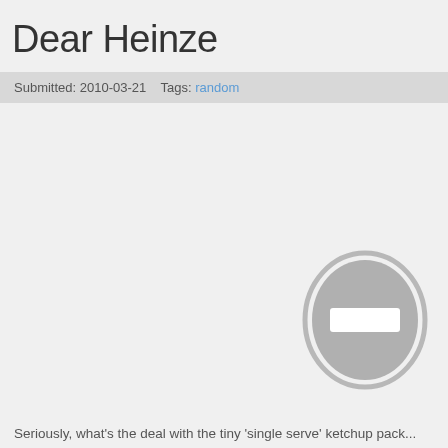Dear Heinze
Submitted: 2010-03-21    Tags: random
[Figure (illustration): A greyed-out oval/ellipse image placeholder icon with a minus/dash symbol in the center, indicating a missing or unavailable image.]
Seriously, what's the deal with the tiny 'single serve' ketchup pack...